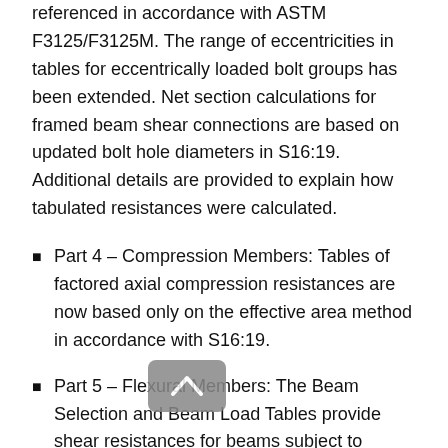referenced in accordance with ASTM F3125/F3125M. The range of eccentricities in tables for eccentrically loaded bolt groups has been extended. Net section calculations for framed beam shear connections are based on updated bolt hole diameters in S16:19. Additional details are provided to explain how tabulated resistances were calculated.
Part 4 – Compression Members: Tables of factored axial compression resistances are now based only on the effective area method in accordance with S16:19.
Part 5 – Flexural Members: The Beam Selection and Beam Load Tables provide shear resistances for beams subject to combined shear